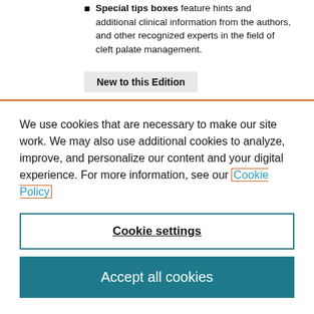Special tips boxes feature hints and additional clinical information from the authors, and other recognized experts in the field of cleft palate management.
New to this Edition
We use cookies that are necessary to make our site work. We may also use additional cookies to analyze, improve, and personalize our content and your digital experience. For more information, see our Cookie Policy
Cookie settings
Accept all cookies